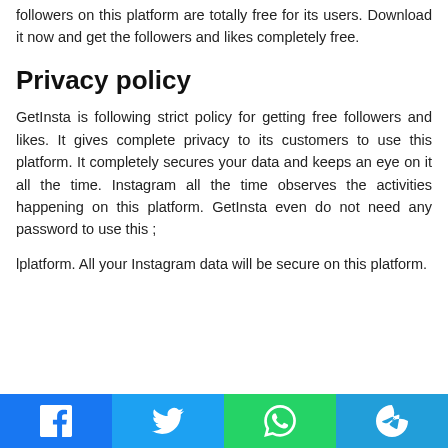followers on this platform are totally free for its users. Download it now and get the followers and likes completely free.
Privacy policy
GetInsta is following strict policy for getting free followers and likes. It gives complete privacy to its customers to use this platform. It completely secures your data and keeps an eye on it all the time. Instagram all the time observes the activities happening on this platform. GetInsta even do not need any password to use this ;
lplatform. All your Instagram data will be secure on this platform.
[Figure (other): Social share buttons row: Facebook (blue), Twitter (light blue), WhatsApp (green), Telegram (blue) with respective icons]